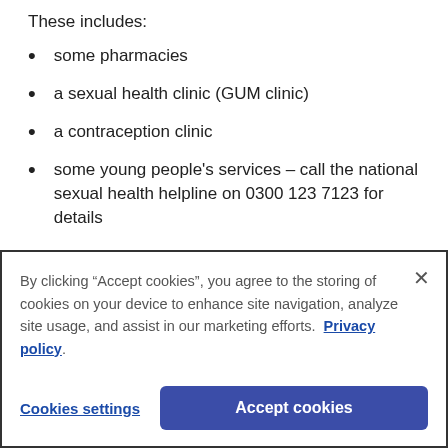These includes:
some pharmacies
a sexual health clinic (GUM clinic)
a contraception clinic
some young people's services – call the national sexual health helpline on 0300 123 7123 for details
By clicking “Accept cookies”, you agree to the storing of cookies on your device to enhance site navigation, analyze site usage, and assist in our marketing efforts. Privacy policy.
Cookies settings
Accept cookies